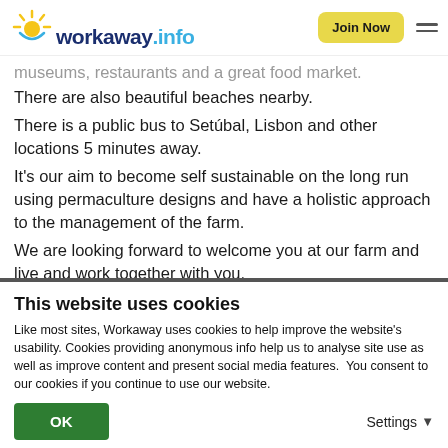workaway.info — Join Now
museums, restaurants and a great food market. There are also beautiful beaches nearby.
There is a public bus to Setúbal, Lisbon and other locations 5 minutes away.
It's our aim to become self sustainable on the long run using permaculture designs and have a holistic approach to the management of the farm.
We are looking forward to welcome you at our farm and live and work together with you.
This website uses cookies
Like most sites, Workaway uses cookies to help improve the website's usability. Cookies providing anonymous info help us to analyse site use as well as improve content and present social media features.  You consent to our cookies if you continue to use our website.
OK
Settings